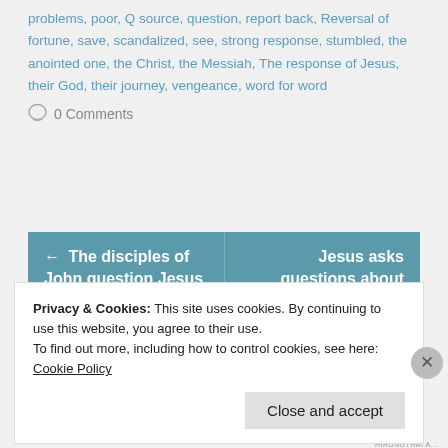problems, poor, Q source, question, report back, Reversal of fortune, save, scandalized, see, strong response, stumbled, the anointed one, the Christ, the Messiah, The response of Jesus, their God, their journey, vengeance, word for word
0 Comments
← The disciples of John question Jesus
Jesus asks questions about
Privacy & Cookies: This site uses cookies. By continuing to use this website, you agree to their use.
To find out more, including how to control cookies, see here: Cookie Policy
Close and accept